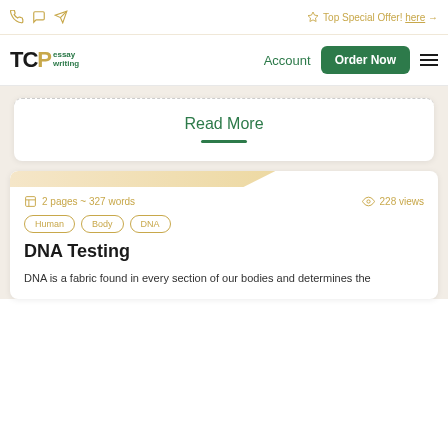Top Special Offer! here →
[Figure (logo): TCPessay writing logo with account, order now button and hamburger menu]
Read More
2 pages ~ 327 words  228 views
Human
Body
DNA
DNA Testing
DNA is a fabric found in every section of our bodies and determines the